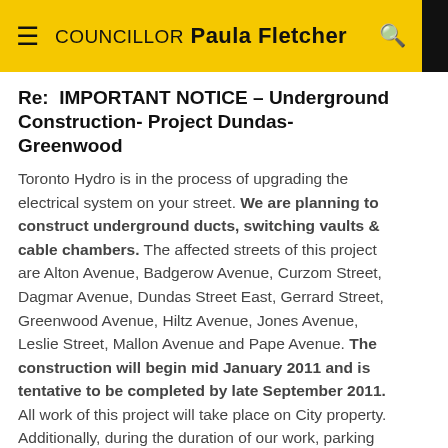COUNCILLOR Paula Fletcher  Sign Up
Re:  IMPORTANT NOTICE – Underground Construction- Project Dundas- Greenwood
Toronto Hydro is in the process of upgrading the electrical system on your street. We are planning to construct underground ducts, switching vaults & cable chambers. The affected streets of this project are Alton Avenue, Badgerow Avenue, Curzom Street, Dagmar Avenue, Dundas Street East, Gerrard Street, Greenwood Avenue, Hiltz Avenue, Jones Avenue, Leslie Street, Mallon Avenue and Pape Avenue. The construction will begin mid January 2011 and is tentative to be completed by late September 2011. All work of this project will take place on City property. Additionally, during the duration of our work, parking lanes will be occupied by our workers which will reduce traffic to single lanes in each direction. We will do our best to minimize inconveniences